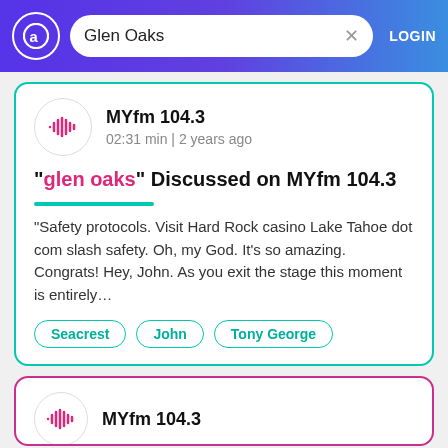Glen Oaks | LOGIN
MYfm 104.3
02:31 min | 2 years ago
"glen oaks" Discussed on MYfm 104.3
"Safety protocols. Visit Hard Rock casino Lake Tahoe dot com slash safety. Oh, my God. It's so amazing. Congrats! Hey, John. As you exit the stage this moment is entirely...
Seacrest
John
Tony George
MYfm 104.3